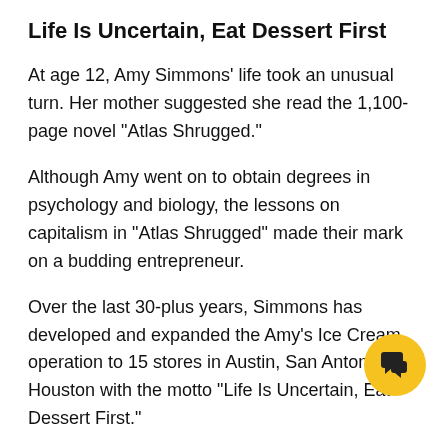Life Is Uncertain, Eat Dessert First
At age 12, Amy Simmons' life took an unusual turn. Her mother suggested she read the 1,100-page novel "Atlas Shrugged."
Although Amy went on to obtain degrees in psychology and biology, the lessons on capitalism in "Atlas Shrugged" made their mark on a budding entrepreneur.
Over the last 30-plus years, Simmons has developed and expanded the Amy's Ice Cream operation to 15 stores in Austin, San Antonio and Houston with the motto "Life Is Uncertain, Eat Dessert First."
Recently, she added Phil's Ice House and